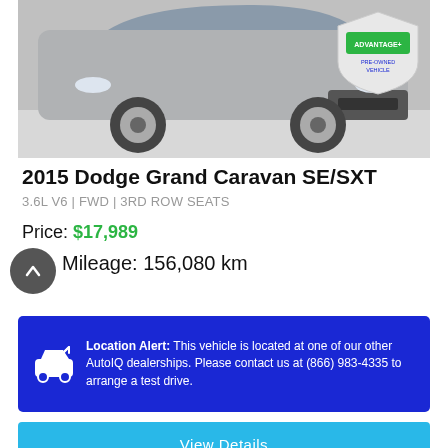[Figure (photo): Front view of a silver 2015 Dodge Grand Caravan SE/SXT minivan with an Advantage+ Pre-Owned Vehicle badge in the top-right corner]
2015 Dodge Grand Caravan SE/SXT
3.6L V6 | FWD | 3RD ROW SEATS
Price: $17,989
Mileage: 156,080 km
Location Alert: This vehicle is located at one of our other AutoIQ dealerships. Please contact us at (866) 983-4335 to arrange a test drive.
View Details
Calculate Payments
Begin Purchase